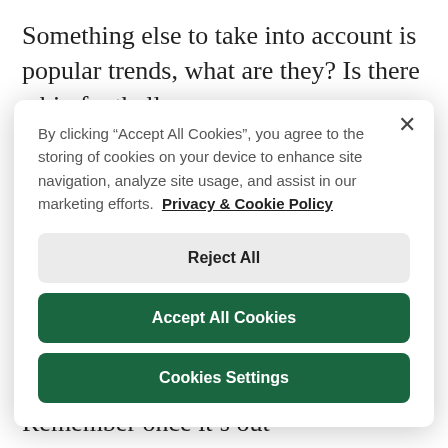Something else to take into account is popular trends, what are they? Is there a big football
By clicking “Accept All Cookies”, you agree to the storing of cookies on your device to enhance site navigation, analyze site usage, and assist in our marketing efforts.  Privacy & Cookie Policy
Reject All
Accept All Cookies
Cookies Settings
doesn’t cause confusion and ridicule just like the #emojinal campaign from House of Fraser earlier in the year. Remember once it’s out